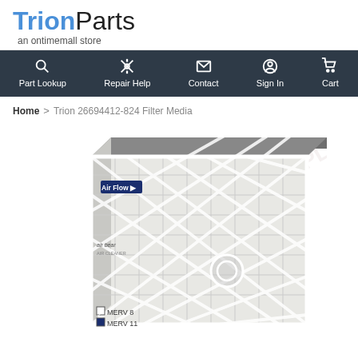[Figure (logo): TrionParts logo - 'Trion' in bold blue, 'Parts' in regular gray, with tagline 'an ontimemall store' below]
Part Lookup | Repair Help | Contact | Sign In | Cart
Home > Trion 26694412-824 Filter Media
[Figure (photo): Air Bear filter media product photo - a thick pleated HVAC air filter with white frame and lattice pattern, shown at an angle. Shows 'Air Flow' label and 'air bear' branding. Checkboxes for MERV 8 and MERV 11 visible at bottom.]